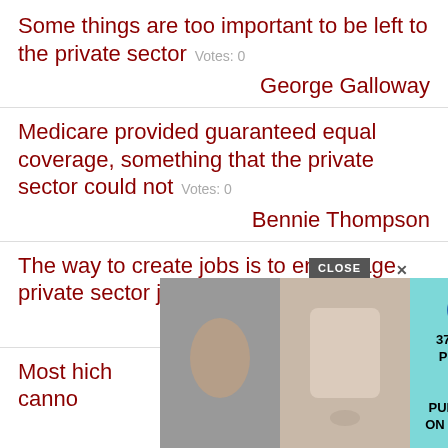Some things are too important to be left to the private sector  Votes: 0
George Galloway
Medicare provided guaranteed equal coverage, something that the private sector could not  Votes: 0
Bennie Thompson
The way to create jobs is to encourage private sector job creators.  Votes: 0
Roy Blunt
Most ... which cannot ...
[Figure (screenshot): Advertisement overlay showing '37 ITEMS PEOPLE LOVE TO PURCHASE ON AMAZON' with a CLOSE button and product images]
Elder